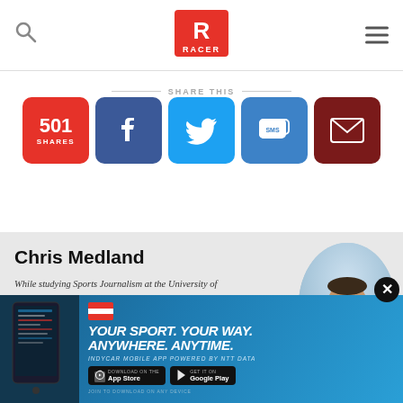RACER
SHARE THIS
501 SHARES
Chris Medland
While studying Sports Journalism at the University of Central Lancashire, Chris managed to talk his way into working at the British Grand Prix in 2008 and was retained for three years before joining ESPN F1 as Assistant Editor. After three years at ESPN, a spell as F1 Editor at Crash Media Group was followed by the major task of launching F1i.com's English-language website and running it as Editor. Present at every race since the
[Figure (photo): Photo of Chris Medland, a man wearing sunglasses and a dark jacket with a lanyard, against a blue sky background]
[Figure (infographic): IndyCar Mobile App advertisement: YOUR SPORT. YOUR WAY. ANYWHERE. ANYTIME. INDYCAR MOBILE APP POWERED BY NTT DATA with App Store and Google Play download buttons]